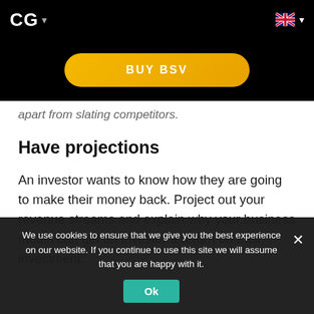CG ▾
[Figure (other): Yellow pill-shaped button with white text reading 'BUY BSV' on a black background]
apart from slating competitors.
Have projections
An investor wants to know how they are going to make their money back. Project out your revenue streams and explain why your business model can get an investor a return on their investment.
We use cookies to ensure that we give you the best experience on our website. If you continue to use this site we will assume that you are happy with it.